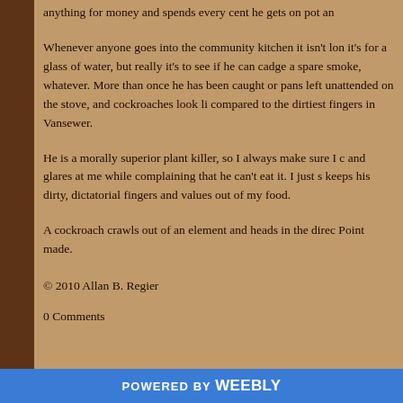anything for money and spends every cent he gets on pot an
Whenever anyone goes into the community kitchen it isn’t lon it’s for a glass of water, but really it’s to see if he can cadge a spare smoke, whatever. More than once he has been caught or pans left unattended on the stove, and cockroaches look li compared to the dirtiest fingers in Vansewer.
He is a morally superior plant killer, so I always make sure I c and glares at me while complaining that he can’t eat it. I just s keeps his dirty, dictatorial fingers and values out of my food.
A cockroach crawls out of an element and heads in the direc Point made.
© 2010 Allan B. Regier
0 Comments
POWERED BY weebly